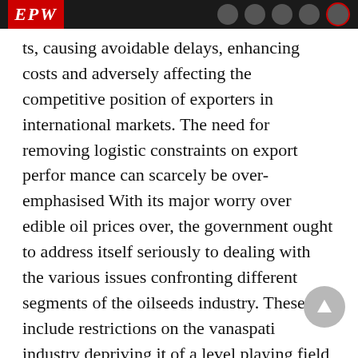EPW
ts, causing avoidable delays, enhancing costs and adversely affecting the competitive position of exporters in international markets. The need for removing logistic constraints on export perfor mance can scarcely be over-emphasised With its major worry over edible oil prices over, the government ought to address itself seriously to dealing with the various issues confronting different segments of the oilseeds industry. These include restrictions on the vanaspati industry depriving it of a level playing field with the competitive products, continuing imbalance between the availability of raw material and processing capacity in the wake of mushroom growth of solvent extraction units and infrastructural deficiencies hampering exports which the